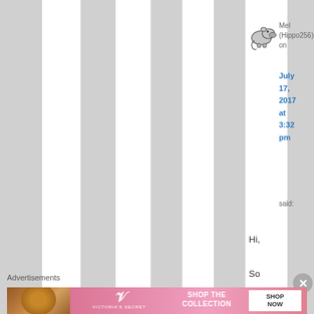[Figure (illustration): Small hippo avatar/icon facing right with a curled tail, drawn in a simple cartoon style]
Mel (Hippo256) on July 17, 2017 at 3:32 pm said:
Hi,

So
rry
for
my
Advertisements
[Figure (photo): Victoria's Secret advertisement banner: photo of a woman with curly hair on the left, Victoria's Secret logo and 'SHOP THE COLLECTION' text in center, 'SHOP NOW' button on the right, pink gradient background]